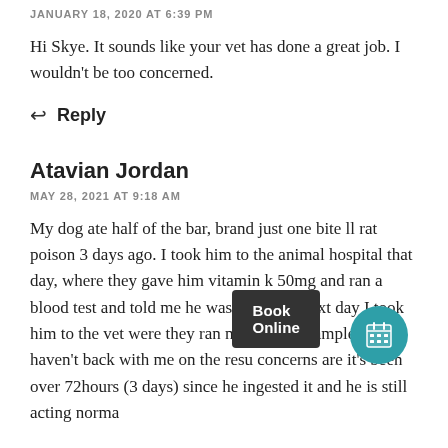JANUARY 18, 2020 AT 6:39 PM
Hi Skye. It sounds like your vet has done a great job. I wouldn't be too concerned.
↩ Reply
Atavian Jordan
MAY 28, 2021 AT 9:18 AM
My dog ate half of the bar, brand just one bite ll rat poison 3 days ago. I took him to the animal hospital that day, where they gave him vitamin k 50mg and ran a blood test and told me he was fine. The next day I took him to the vet were they ran more blood samples they haven't back with me on the resu concerns are it's been over 72hours (3 days) since he ingested it and he is still acting norma